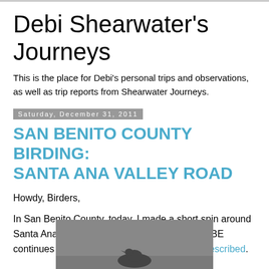Debi Shearwater's Journeys
This is the place for Debi's personal trips and observations, as well as trip reports from Shearwater Journeys.
Saturday, December 31, 2011
SAN BENITO COUNTY BIRDING: SANTA ANA VALLEY ROAD
Howdy, Birders,
In San Benito County, today, I made a short spin around Santa Ana Valley Road. The EASTERN PHOEBE continues in the same location as previously described.
[Figure (photo): Partial photograph of a bird (Eastern Phoebe) against a grey background, cropped at bottom of page]